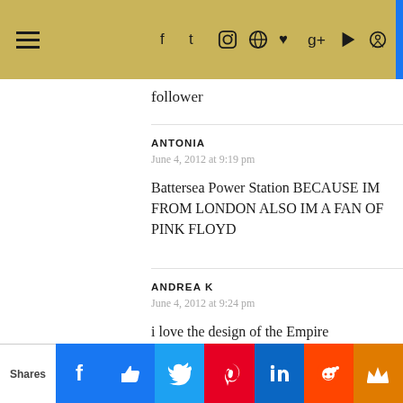≡ f t ☷ ℗ ♥ g+ ▶ 🔍
follower
ANTONIA
June 4, 2012 at 9:19 pm
Battersea Power Station BECAUSE IM FROM LONDON ALSO IM A FAN OF PINK FLOYD
ANDREA K
June 4, 2012 at 9:24 pm
i love the design of the Empire
Shares | Facebook | Like | Twitter | Pinterest | LinkedIn | Reddit | Crown